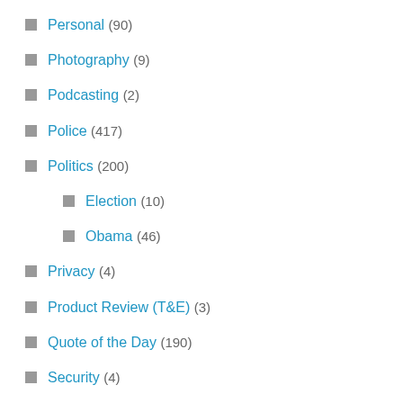Personal (90)
Photography (9)
Podcasting (2)
Police (417)
Politics (200)
Election (10)
Obama (46)
Privacy (4)
Product Review (T&E) (3)
Quote of the Day (190)
Security (4)
Self Defense (90)
Sewing (1)